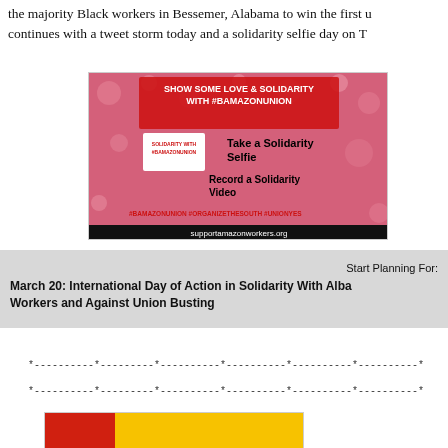the majority Black workers in Bessemer, Alabama to win the first union continues with a tweet storm today and a solidarity selfie day on Th
[Figure (photo): Social media graphic promoting solidarity with #BAmazonUnion. Pink background with text: SHOW SOME LOVE & SOLIDARITY WITH #BAMAZONUNION. Take a Solidarity Selfie. Record a Solidarity Video. #BAMAZONUNION #ORGANIZETHESOUTH #UNIONYES. supportamazonworkers.org]
Start Planning For:
March 20: International Day of Action in Solidarity With Alabama Workers and Against Union Busting
*----------*---------*----------*----------*----------*----------*
*----------*---------*----------*----------*----------*----------*
[Figure (photo): Partial view of a yellow and red graphic at the bottom of the page, content not fully visible.]